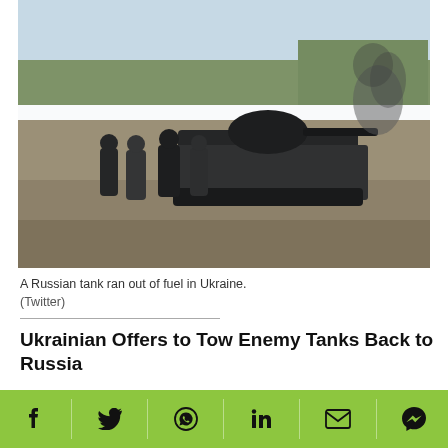[Figure (photo): A Russian tank that ran out of fuel, stopped on a road in Ukraine. Several people in dark clothing are standing around the tank. Bare trees and a grey-blue sky visible in the background.]
A Russian tank ran out of fuel in Ukraine.
(Twitter)
Ukrainian Offers to Tow Enemy Tanks Back to Russia
The video, which clocked over 3 million views, shows an